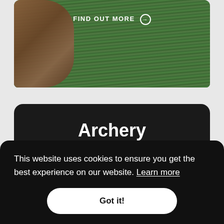[Figure (photo): Photo of archery equipment (bow) on green grass background with 'FIND OUT MORE' button overlay]
Archery
Unleash your inner hunter with one of our fully guided Archery sessions.
This website uses cookies to ensure you get the best experience on our website. Learn more
Got it!